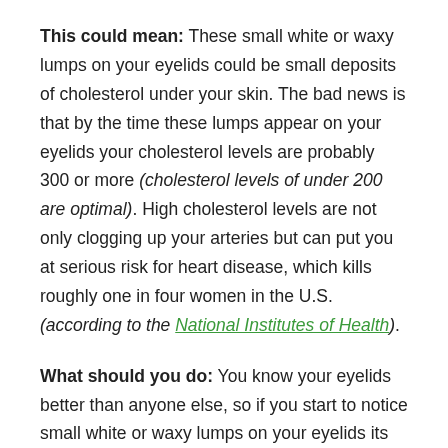This could mean: These small white or waxy lumps on your eyelids could be small deposits of cholesterol under your skin. The bad news is that by the time these lumps appear on your eyelids your cholesterol levels are probably 300 or more (cholesterol levels of under 200 are optimal). High cholesterol levels are not only clogging up your arteries but can put you at serious risk for heart disease, which kills roughly one in four women in the U.S. (according to the National Institutes of Health).
What should you do: You know your eyelids better than anyone else, so if you start to notice small white or waxy lumps on your eyelids its best to head on down to your doctor for a simple cholesterol check. In fact, by reducing your cholesterol levels by just 10% you can cut your heart disease risk by as much as a third, so ask your doctor about how you can reduce your cholesterol. If your high cholesterol is hereditary and cannot be managed by simple lifestyle changes your doctor may prescribe drugs to help